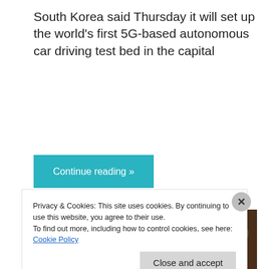South Korea said Thursday it will set up the world's first 5G-based autonomous car driving test bed in the capital
Continue reading »
[Figure (photo): Close-up photo of a man wearing a red and white checkered keffiyeh headdress with a black agal, background blurred]
Privacy & Cookies: This site uses cookies. By continuing to use this website, you agree to their use.
To find out more, including how to control cookies, see here: Cookie Policy
Close and accept